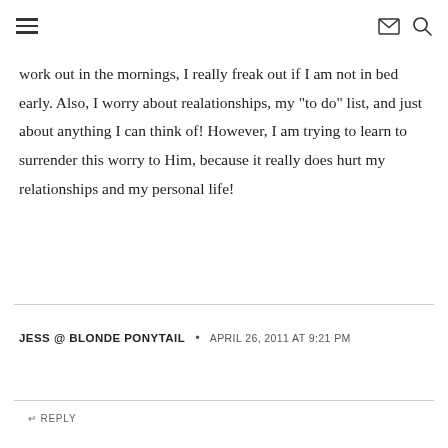≡ [menu icon] [envelope icon] [search icon]
work out in the mornings, I really freak out if I am not in bed early. Also, I worry about realationships, my "to do" list, and just about anything I can think of! However, I am trying to learn to surrender this worry to Him, because it really does hurt my relationships and my personal life!
JESS @ BLONDE PONYTAIL  •  APRIL 26, 2011 AT 9:21 PM
↵ REPLY